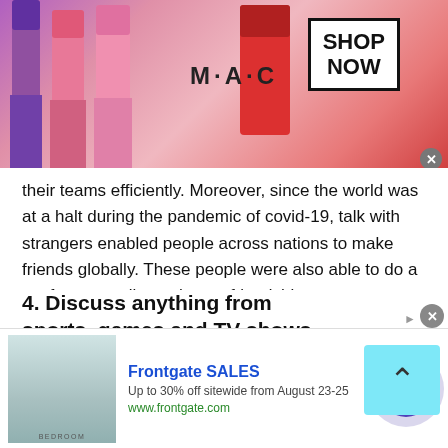[Figure (illustration): MAC cosmetics advertisement banner showing lipsticks in purple, pink and red colors with MAC logo and SHOP NOW button in a bordered box]
their teams efficiently. Moreover, since the world was at a halt during the pandemic of covid-19, talk with strangers enabled people across nations to make friends globally. These people were also able to do a conference call to enhance friendships.
4. Discuss anything from sports, games and TV shows you love by chat with people of Liberia on TWS:
At Talkwithstranger, there is no restriction or
[Figure (illustration): Frontgate SALES advertisement: bedroom image with text 'Up to 30% off sitewide from August 23-25' and www.frontgate.com]